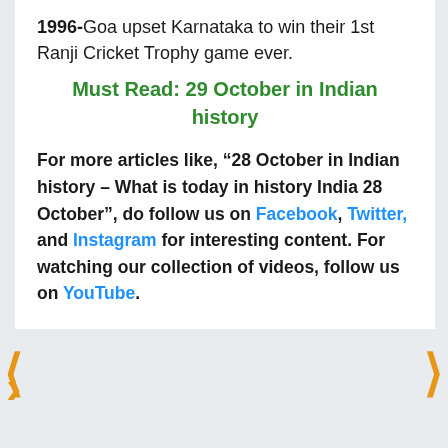1996-Goa upset Karnataka to win their 1st Ranji Cricket Trophy game ever.
Must Read: 29 October in Indian history
For more articles like, “28 October in Indian history – What is today in history India 28 October”, do follow us on Facebook, Twitter, and Instagram for interesting content. For watching our collection of videos, follow us on YouTube.
← Ahoi Ashtami Vrat Samagri List:
⊙ How can I help you?